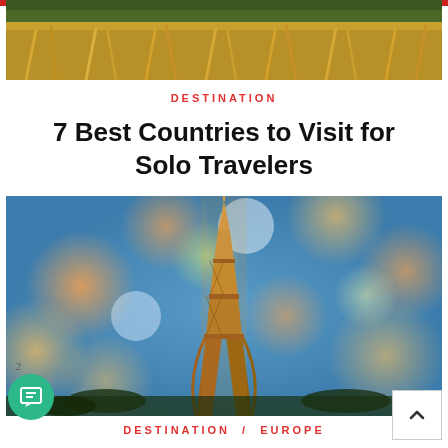[Figure (photo): Top image showing a wheat or grass field, partial view at the top of the page]
DESTINATION
7 Best Countries to Visit for Solo Travelers
[Figure (photo): Eiffel Tower at night with bokeh light circles in blue and orange tones]
DESTINATION / EUROPE